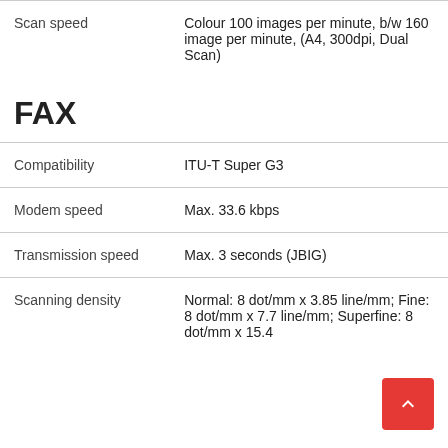| Feature | Value |
| --- | --- |
| Scan speed | Colour 100 images per minute, b/w 160 image per minute, (A4, 300dpi, Dual Scan) |
FAX
| Feature | Value |
| --- | --- |
| Compatibility | ITU-T Super G3 |
| Modem speed | Max. 33.6 kbps |
| Transmission speed | Max. 3 seconds (JBIG) |
| Scanning density | Normal: 8 dot/mm x 3.85 line/mm; Fine: 8 dot/mm x 7.7 line/mm; Superfine: 8 dot/mm x 15.4 |